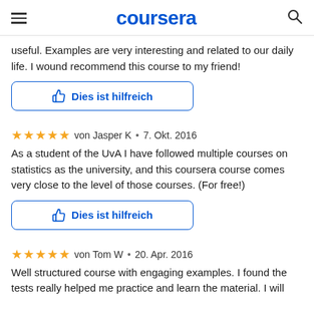coursera
useful. Examples are very interesting and related to our daily life. I wound recommend this course to my friend!
Dies ist hilfreich
von Jasper K • 7. Okt. 2016
As a student of the UvA I have followed multiple courses on statistics as the university, and this coursera course comes very close to the level of those courses. (For free!)
Dies ist hilfreich
von Tom W • 20. Apr. 2016
Well structured course with engaging examples. I found the tests really helped me practice and learn the material. I will